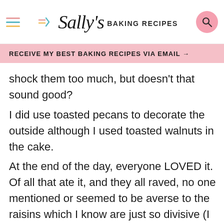Sally's BAKING RECIPES
RECEIVE MY BEST BAKING RECIPES VIA EMAIL →
shock them too much, but doesn't that sound good? I did use toasted pecans to decorate the outside although I used toasted walnuts in the cake. At the end of the day, everyone LOVED it. Of all that ate it, and they all raved, no one mentioned or seemed to be averse to the raisins which I know are just so divisive (I am team raisin). Between us, I spent a LOT of time frosting this thing, and I want it to come out the